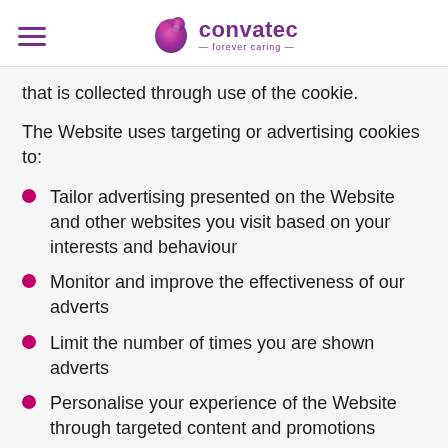convatec — forever caring —
that is collected through use of the cookie.
The Website uses targeting or advertising cookies to:
Tailor advertising presented on the Website and other websites you visit based on your interests and behaviour
Monitor and improve the effectiveness of our adverts
Limit the number of times you are shown adverts
Personalise your experience of the Website through targeted content and promotions